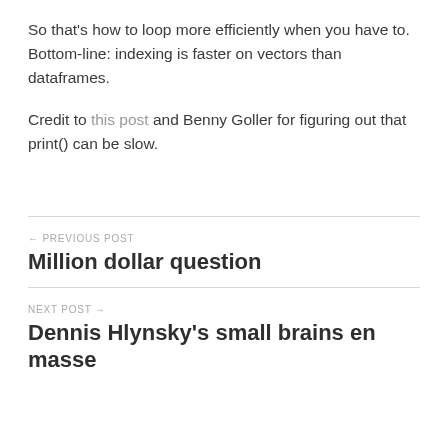So that's how to loop more efficiently when you have to. Bottom-line: indexing is faster on vectors than dataframes.
Credit to this post and Benny Goller for figuring out that print() can be slow.
← PREVIOUS POST
Million dollar question
NEXT POST →
Dennis Hlynsky's small brains en masse